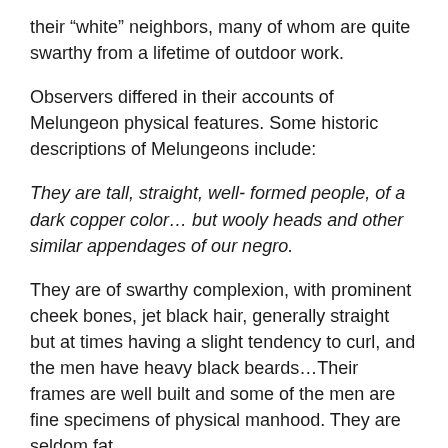their “white” neighbors, many of whom are quite swarthy from a lifetime of outdoor work.
Observers differed in their accounts of Melungeon physical features. Some historic descriptions of Melungeons include:
They are tall, straight, well- formed people, of a dark copper color… but wooly heads and other similar appendages of our negro.
They are of swarthy complexion, with prominent cheek bones, jet black hair, generally straight but at times having a slight tendency to curl, and the men have heavy black beards…Their frames are well built and some of the men are fine specimens of physical manhood. They are seldom fat.